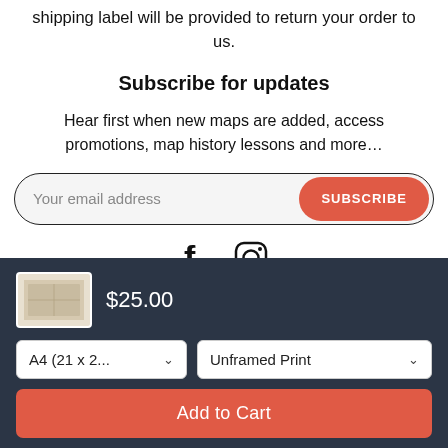shipping label will be provided to return your order to us.
Subscribe for updates
Hear first when new maps are added, access promotions, map history lessons and more…
Your email address [input field] SUBSCRIBE [button]
[Figure (illustration): Social media icons: Facebook (f) and Instagram (camera) icons]
$25.00
A4 (21 x 2... [dropdown]  Unframed Print [dropdown]
Add to Cart